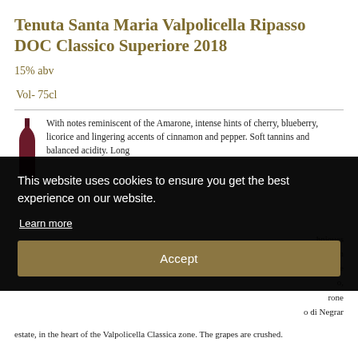Tenuta Santa Maria Valpolicella Ripasso DOC Classico Superiore 2018
15% abv
Vol- 75cl
With notes reminiscent of the Amarone, intense hints of cherry, blueberry, licorice and lingering accents of cinnamon and pepper. Soft [tannins and balanced ac]idity. Long [finish]
[...techniques ...expression ...with the ...o, ...rone ...o di Negrar]
estate, in the heart of the Valpolicella Classica zone. The grapes are crushed.
[Figure (illustration): Dark red wine bottle silhouette icon]
This website uses cookies to ensure you get the best experience on our website.
Learn more
Accept